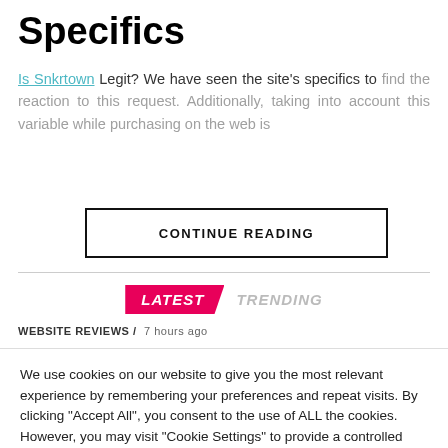Specifics
Is Snkrtown Legit? We have seen the site's specifics to find the reaction to this request. Additionally, taking into account this variable while purchasing on the web is
CONTINUE READING
LATEST   TRENDING
WEBSITE REVIEWS / 7 hours ago
We use cookies on our website to give you the most relevant experience by remembering your preferences and repeat visits. By clicking "Accept All", you consent to the use of ALL the cookies. However, you may visit "Cookie Settings" to provide a controlled consent.
Cookie Settings   Accept All